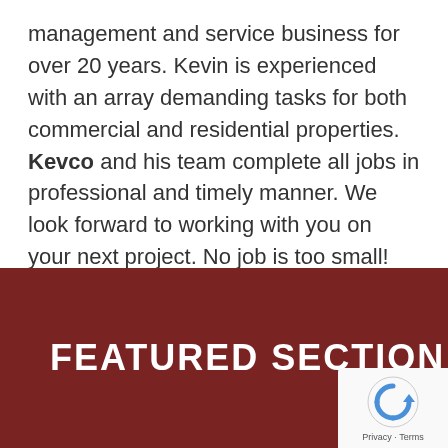management and service business for over 20 years. Kevin is experienced with an array demanding tasks for both commercial and residential properties. Kevco and his team complete all jobs in professional and timely manner. We look forward to working with you on your next project. No job is too small! (more…)
FEATURED SECTION
[Figure (logo): Google reCAPTCHA badge with Privacy and Terms links]